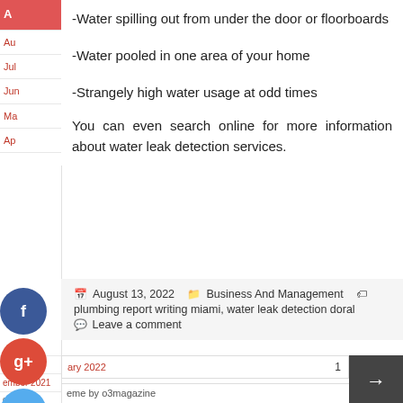-Water spilling out from under the door or floorboards
-Water pooled in one area of your home
-Strangely high water usage at odd times
You can even search online for more information about water leak detection services.
August 13, 2022  Business And Management  plumbing report writing miami, water leak detection doral  Leave a comment
ary 2022
ember 2021
eme by o3magazine
November 2021
Privacy Policy